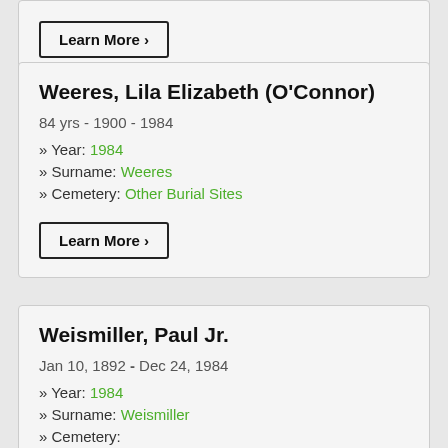Learn More ›
Weeres, Lila Elizabeth (O'Connor)
84 yrs - 1900 - 1984
» Year: 1984
» Surname: Weeres
» Cemetery: Other Burial Sites
Learn More ›
Weismiller, Paul Jr.
Jan 10, 1892 - Dec 24, 1984
» Year: 1984
» Surname: Weismiller
» Cemetery: